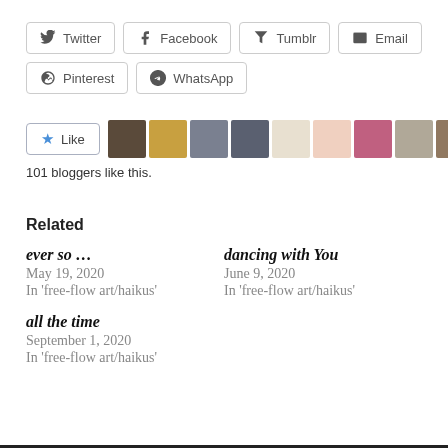Twitter
Facebook
Tumblr
Email
Pinterest
WhatsApp
101 bloggers like this.
Related
ever so ...
May 19, 2020
In 'free-flow art/haikus'
dancing with You
June 9, 2020
In 'free-flow art/haikus'
all the time
September 1, 2020
In 'free-flow art/haikus'